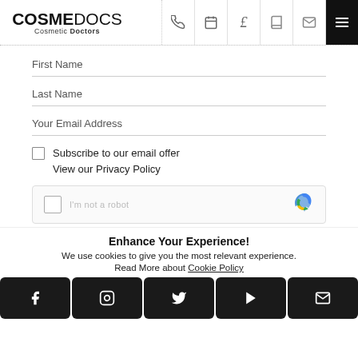COSMEDOCS Cosmetic Doctors
First Name
Last Name
Your Email Address
Subscribe to our email offer
View our Privacy Policy
[Figure (other): reCAPTCHA verification widget with checkbox and Google logo]
Enhance Your Experience!
We use cookies to give you the most relevant experience.
Read More about Cookie Policy
Social links: Facebook, Instagram, Twitter, YouTube, Email